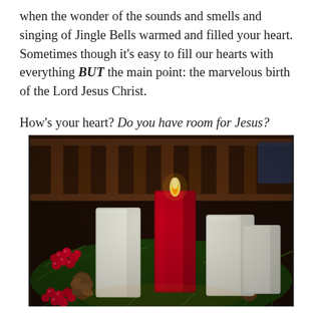when the wonder of the sounds and smells and singing of Jingle Bells warmed and filled your heart.  Sometimes though it's easy to fill our hearts with everything BUT the main point: the marvelous birth of the Lord Jesus Christ.

How's your heart? Do you have room for Jesus?
[Figure (photo): A close-up photo of an Advent wreath or Christmas centerpiece with white and red pillar candles surrounded by pine boughs, red berries, and pine cones. The red candle in the center is lit with a visible flame, set against a warm dark background with wooden banister visible.]